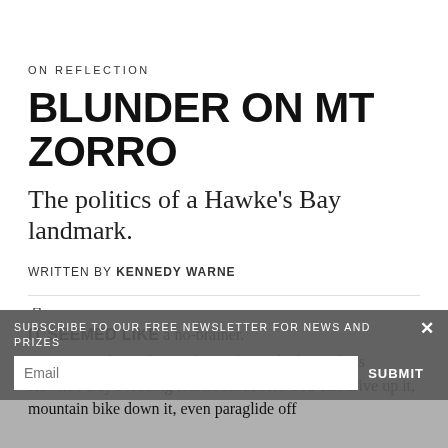ON REFLECTION
BLUNDER ON MT ZORRO
The politics of a Hawke's Bay landmark.
WRITTEN BY KENNEDY WARNE
PHILLIP CAPPER
IT SEEMED LIKE a no-brainer.
SUBSCRIBE TO OUR FREE NEWSLETTER FOR NEWS AND PRIZES
Te Mata Peak, on the outskirts of Havelock North, is Hawke's Bay's leading tourist attraction. You can drive up it, mountain bike down it, even paraglide off